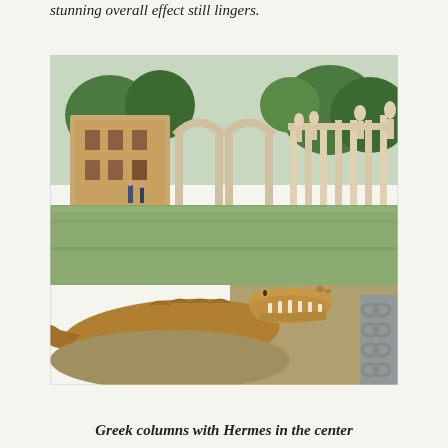stunning overall effect still lingers.
[Figure (photo): Photograph of a crocodile sculpture in the foreground beside a large reflecting pool (Canopus), with ancient Roman ruins including arched colonnades, statues, and trees in the background at Hadrian's Villa, Tivoli.]
Greek columns with Hermes in the center